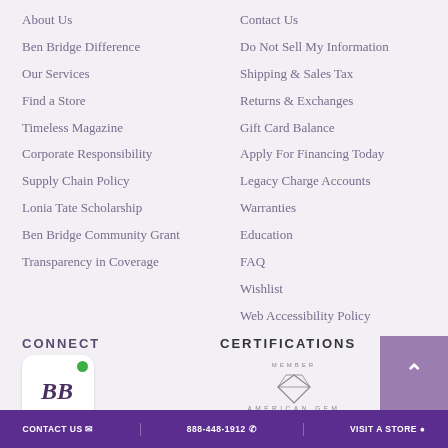About Us
Ben Bridge Difference
Our Services
Find a Store
Timeless Magazine
Corporate Responsibility
Supply Chain Policy
Lonia Tate Scholarship
Ben Bridge Community Grant
Transparency in Coverage
Contact Us
Do Not Sell My Information
Shipping & Sales Tax
Returns & Exchanges
Gift Card Balance
Apply For Financing Today
Legacy Charge Accounts
Warranties
Education
FAQ
Wishlist
Web Accessibility Policy
CONNECT
[Figure (logo): Ben Bridge BB logo in italic serif font on white rounded square background with green dot]
Careers
CERTIFICATIONS
[Figure (logo): American Gem Society Member logo with diamond icon and text 'Consumer Protection Since 1916']
CONTACT US   888-448-1912   VISIT A STORE